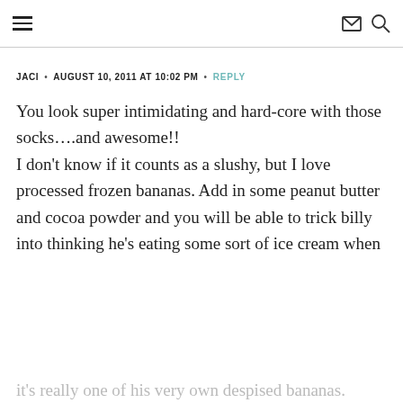≡  [mail icon] [search icon]
JACI • AUGUST 10, 2011 AT 10:02 PM • REPLY
You look super intimidating and hard-core with those socks….and awesome!! I don't know if it counts as a slushy, but I love processed frozen bananas. Add in some peanut butter and cocoa powder and you will be able to trick billy into thinking he's eating some sort of ice cream when it's really one of his very own despised bananas.